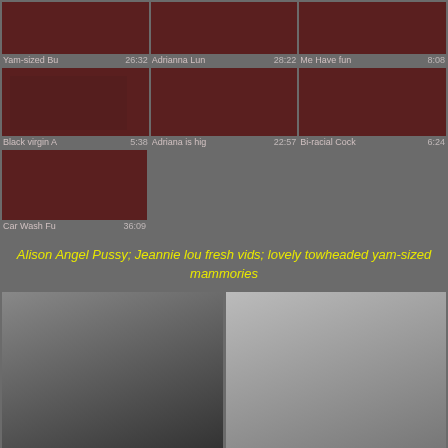[Figure (screenshot): Video thumbnail grid row 1: three dark reddish-brown thumbnails with titles and durations. Yam-sized Bu 26:32, Adrianna Lun 28:22, Me Have fun 8:08]
[Figure (screenshot): Video thumbnail grid row 2: three dark reddish-brown thumbnails. Black virgin A 5:38, Adriana is hig 22:57, Bi-racial Cock 6:24]
[Figure (screenshot): Video thumbnail grid row 3: one dark reddish-brown thumbnail. Car Wash Fu 36:09]
Alison Angel Pussy; Jeannie lou fresh vids; lovely towheaded yam-sized mammories
[Figure (photo): Two photo thumbnails at bottom: left shows a dark-haired woman, right shows a blonde woman]